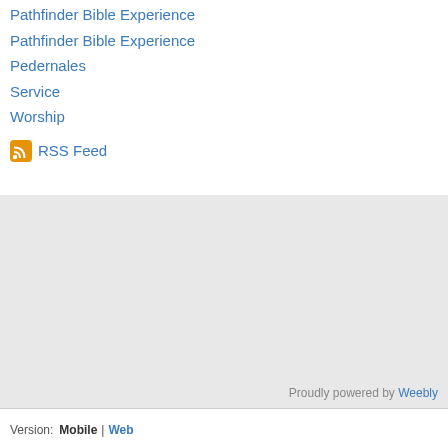Pathfinder Bible Experience
Pathfinder Bible Experience
Pedernales
Service
Worship
RSS Feed
Proudly powered by Weebly
Version: Mobile | Web